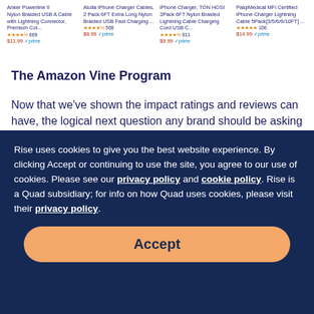[Figure (screenshot): Amazon product listing strip showing 4 iPhone charger cable products with star ratings, review counts, prices, and Prime badges]
The Amazon Vine Program
Now that we've shown the impact ratings and reviews can have, the logical next question any brand should be asking is, “How do I increase my ratings and reviews on Amazon?” The most common way to get
Rise uses cookies to give you the best website experience. By clicking Accept or continuing to use the site, you agree to our use of cookies. Please see our privacy policy and cookie policy. Rise is a Quad subsidiary; for info on how Quad uses cookies, please visit their privacy policy.
Accept